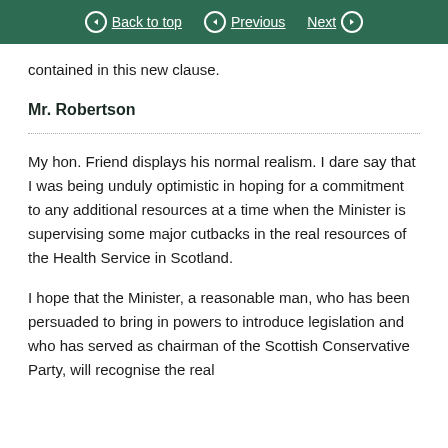Back to top | Previous | Next
contained in this new clause.
Mr. Robertson
My hon. Friend displays his normal realism. I dare say that I was being unduly optimistic in hoping for a commitment to any additional resources at a time when the Minister is supervising some major cutbacks in the real resources of the Health Service in Scotland.
I hope that the Minister, a reasonable man, who has been persuaded to bring in powers to introduce legislation and who has served as chairman of the Scottish Conservative Party, will recognise the real